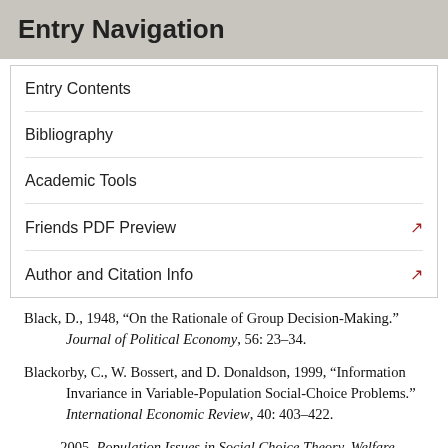Entry Navigation
Entry Contents
Bibliography
Academic Tools
Friends PDF Preview
Author and Citation Info
Black, D., 1948, “On the Rationale of Group Decision-Making.” Journal of Political Economy, 56: 23–34.
Blackorby, C., W. Bossert, and D. Donaldson, 1999, “Information Invariance in Variable-Population Social-Choice Problems.” International Economic Review, 40: 403–422.
——, 2005, Population Issues in Social Choice Theory, Welfare Economics, and Ethics,. Cambridge: Cambridge University Press.
Blau, J. H., 1975, “Liberal Values and Independence.” Review of Economic Studies, 43: 395–401.